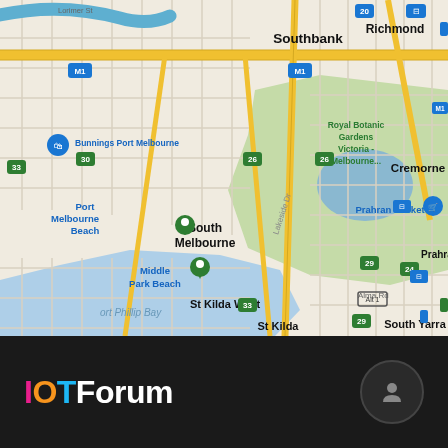[Figure (map): Google Maps view of Melbourne, Australia showing suburbs including Southbank, South Melbourne, Port Melbourne Beach, Middle Park Beach, Royal Botanic Gardens Victoria, Cremorne, South Yarra, Prahran, St Kilda West, St Kilda. Shows Port Phillip Bay on the left, roads including M1 highway markers, route numbers 20, 26, 29, 33, 25, 24, 30, 33, Alt 1. Points of interest include Bunnings Port Melbourne, Prahran Market, with green map pins for Middle Park Beach and Port Melbourne Beach.]
[Figure (logo): IOTForum logo on black background. 'I' in pink/magenta, 'O' in orange, 'T' in blue, 'Forum' in white bold text. A circular dark button with a person/profile icon appears on the right side.]